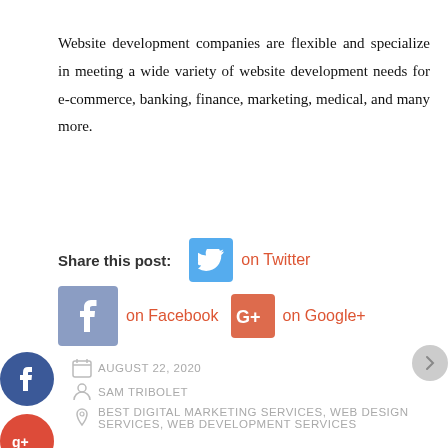Website development companies are flexible and specialize in meeting a wide variety of website development needs for e-commerce, banking, finance, marketing, medical, and many more.
Share this post: on Twitter on Facebook on Google+
AUGUST 22, 2020
SAM TRIBOLET
BEST DIGITAL MARKETING SERVICES, WEB DESIGN SERVICES, WEB DEVELOPMENT SERVICES